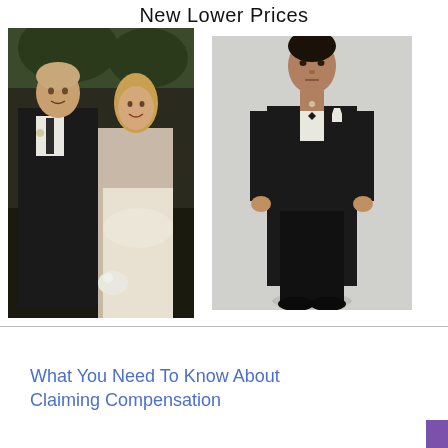New Lower Prices
[Figure (photo): A man in a black tuxedo with a tie and a woman in a white floral dress holding flowers, standing outdoors at a wedding venue.]
[Figure (photo): A man in a black tuxedo with bow tie and white pocket square standing against a light grey background, full body shot.]
What You Need To Know About Claiming Compensation